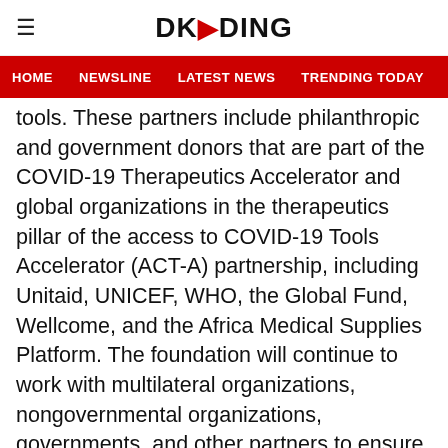DKODING
HOME   NEWSLINE   LATEST NEWS   TRENDING TODAY   ENT
tools. These partners include philanthropic and government donors that are part of the COVID-19 Therapeutics Accelerator and global organizations in the therapeutics pillar of the access to COVID-19 Tools Accelerator (ACT-A) partnership, including Unitaid, UNICEF, WHO, the Global Fund, Wellcome, and the Africa Medical Supplies Platform. The foundation will continue to work with multilateral organizations, nongovernmental organizations, governments, and other partners to ensure that clinical, regulatory, and delivery pathways are ready once molnupiravir and its generic versions become available.